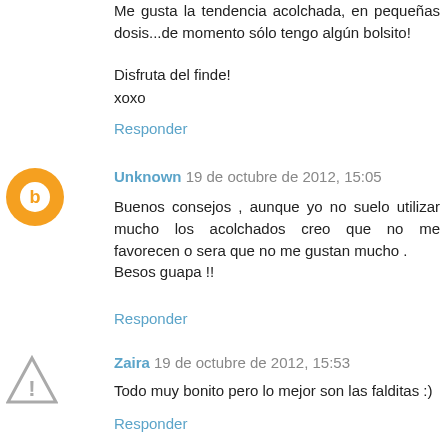Me gusta la tendencia acolchada, en pequeñas dosis...de momento sólo tengo algún bolsito!
Disfruta del finde!
xoxo
Responder
Unknown  19 de octubre de 2012, 15:05
Buenos consejos , aunque yo no suelo utilizar mucho los acolchados creo que no me favorecen o sera que no me gustan mucho .
Besos guapa !!
Responder
Zaira  19 de octubre de 2012, 15:53
Todo muy bonito pero lo mejor son las falditas :)
Responder